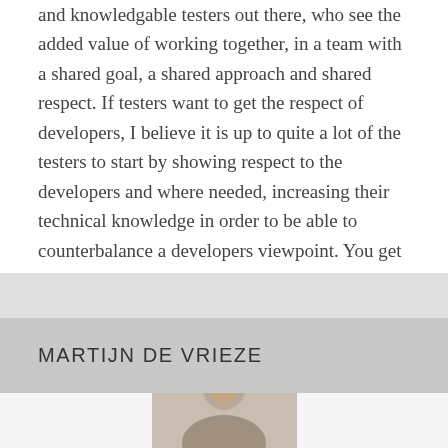and knowledgable testers out there, who see the added value of working together, in a team with a shared goal, a shared approach and shared respect. If testers want to get the respect of developers, I believe it is up to quite a lot of the testers to start by showing respect to the developers and where needed, increasing their technical knowledge in order to be able to counterbalance a developers viewpoint. You get what you give!
MARTIJN DE VRIEZE
[Figure (photo): Portrait photo of Martijn de Vrieze, partially visible at the bottom of the page]